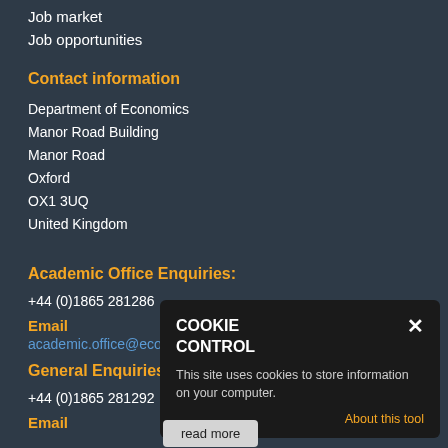Job market
Job opportunities
Contact information
Department of Economics
Manor Road Building
Manor Road
Oxford
OX1 3UQ
United Kingdom
Academic Office Enquiries:
+44 (0)1865 281286
Email
academic.office@economics.ox.ac.uk
General Enquiries:
+44 (0)1865 281292
Email
generalenquiries@economics.ox.ac.uk
[Figure (screenshot): Cookie Control popup overlay with title 'COOKIE CONTROL', close button (×), text 'This site uses cookies to store information on your computer.', 'About this tool' link, and 'read more' button]